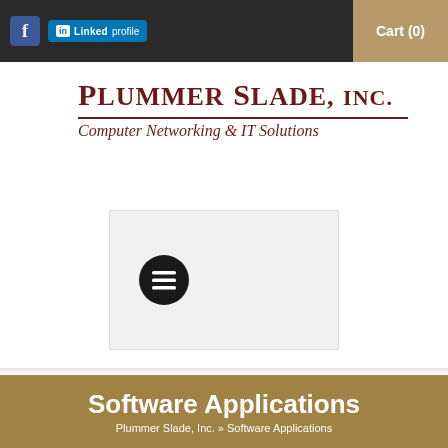Cart (0)
PLUMMER SLADE, INC.
Computer Networking & IT Solutions
[Figure (other): Menu icon button (hamburger menu) inside a light gray rectangular box]
Software Applications
Plummer Slade, Inc. » Software Applications